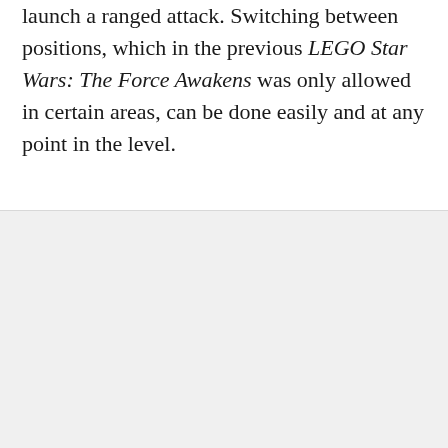launch a ranged attack. Switching between positions, which in the previous LEGO Star Wars: The Force Awakens was only allowed in certain areas, can be done easily and at any point in the level.